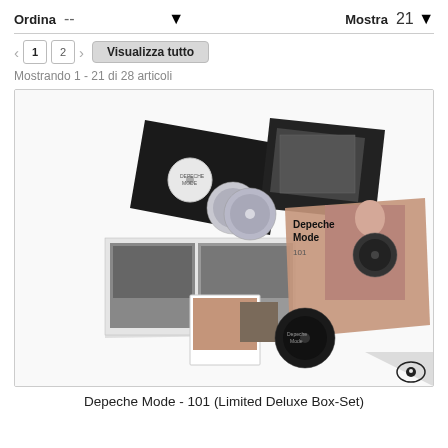Ordina -- | Mostra 21
1  2  >  Visualizza tutto
Mostrando 1 - 21 di 28 articoli
[Figure (photo): Product photo of Depeche Mode 101 Limited Deluxe Box-Set, showing open gatefold vinyl sleeves, booklets, CDs, and a Blu-ray disc fanned out on a white background with Mute Records eye logo in bottom-right corner.]
Depeche Mode - 101 (Limited Deluxe Box-Set)